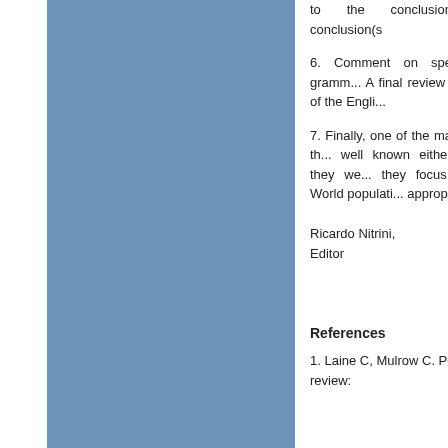[Figure (illustration): Blue rectangular panel occupying the left portion of the page, serving as a decorative/visual sidebar element.]
to the conclusions. The conclusion(s
6. Comment on spelling and gramm... A final review of the use of the Engli...
7. Finally, one of the main roles of th... well known either because they we... they focus on Third World populati... appropriate.
Ricardo Nitrini,
Editor
References
1. Laine C, Mulrow C. Peer review: